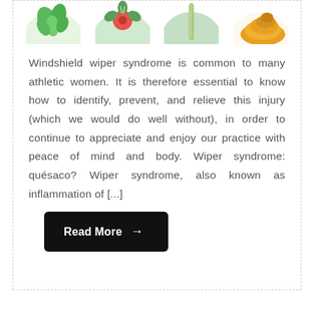[Figure (illustration): Four circular images of plants and spices: mint leaves, a red flower/herb with green background, a green straw/plant, and turmeric powder on a white background.]
Windshield wiper syndrome is common to many athletic women. It is therefore essential to know how to identify, prevent, and relieve this injury (which we would do well without), in order to continue to appreciate and enjoy our practice with peace of mind and body. Wiper syndrome: quésaco? Wiper syndrome, also known as inflammation of [...]
Read More →
Hyperkeratosis: what is it for and